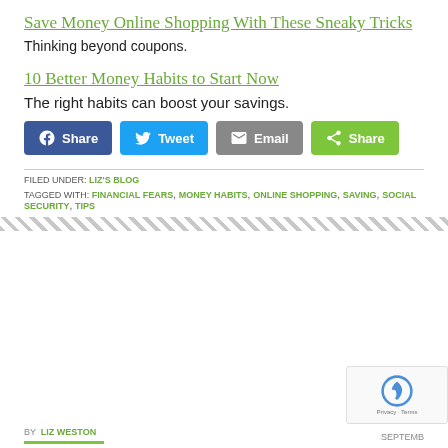Save Money Online Shopping With These Sneaky Tricks
Thinking beyond coupons.
10 Better Money Habits to Start Now
The right habits can boost your savings.
[Figure (other): Social share buttons: Facebook Share, Twitter Tweet, Email, and green Share button]
FILED UNDER: LIZ'S BLOG
TAGGED WITH: FINANCIAL FEARS, MONEY HABITS, ONLINE SHOPPING, SAVING, SOCIAL SECURITY, TIPS
BY LIZ WESTON  SEPTEMBER